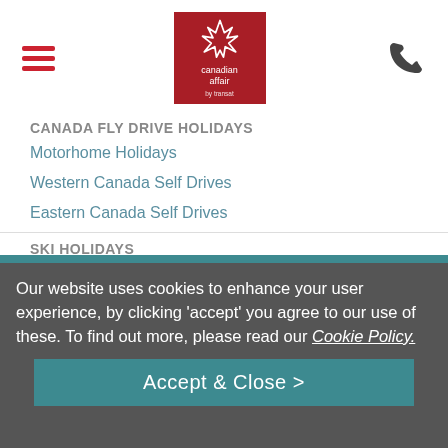[Figure (logo): Hamburger menu icon — three red horizontal lines]
[Figure (logo): Canadian Affair by Transat logo — red maple leaf on dark red background with text 'canadian affair by transat']
[Figure (other): Phone/call icon in dark grey]
CANADA FLY DRIVE HOLIDAYS
Motorhome Holidays
Western Canada Self Drives
Eastern Canada Self Drives
SKI HOLIDAYS
Ski Whistler
Our website uses cookies to enhance your user experience, by clicking 'accept' you agree to our use of these. To find out more, please read our Cookie Policy.
Accept & Close >